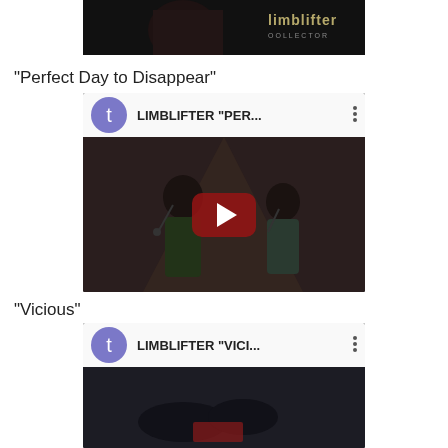[Figure (screenshot): Top portion of a Limblifter album cover or image with dark background and the Limblifter logo in tan/gold text]
"Perfect Day to Disappear"
[Figure (screenshot): YouTube video embed showing LIMBLIFTER "PER... with a purple avatar icon with letter t, three-dot menu, and a concert video thumbnail with YouTube play button overlay]
"Vicious"
[Figure (screenshot): YouTube video embed showing LIMBLIFTER "VICI... with a purple avatar icon with letter t, three-dot menu, and a darker video thumbnail]